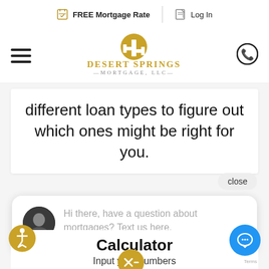FREE Mortgage Rate  |  Log In
[Figure (logo): Desert Springs Mortgage, LLC logo with cactus icon in gold]
different loan types to figure out which ones might be right for you.
close
Hi there, have a question about mortgages? Text us here.
Calculator
Input your numbers